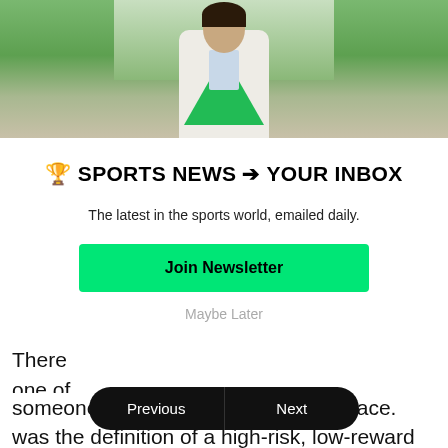[Figure (photo): Person wearing white shirt and green sweater vest outdoors with trees in background]
🏆 SPORTS NEWS → YOUR INBOX
The latest in the sports world, emailed daily.
Join Newsletter
Maybe Later
There
one of
advant
someone that a                    ace. Williams
was the definition of a high-risk, low-reward opponent.